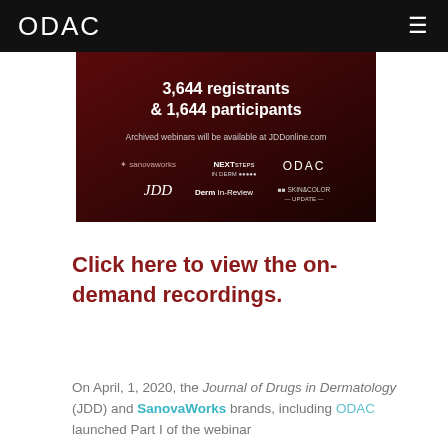ODAC
[Figure (infographic): Dark red banner showing '3,644 registrants & 1,644 participants', archived webinars note, and logos: sanovaworks, NEXTSTEPS IN DERM, ODAC, JDD, Derm In-Review, SKIN & COLOR UPDATE]
Click here to view the on-demand recordings.
On April, 1, 2020, the Journal of Drugs in Dermatology (JDD) and SanovaWorks brands, including ODAC launched Part I of the webinar